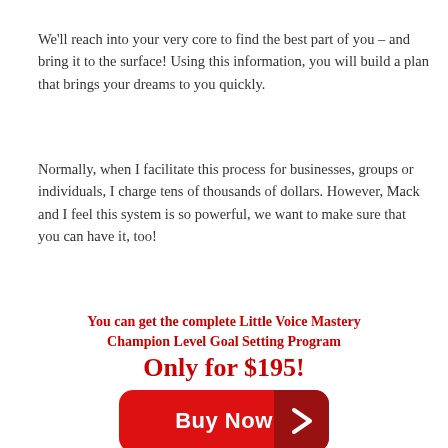We'll reach into your very core to find the best part of you – and bring it to the surface!  Using this information, you will build a plan that brings your dreams to you quickly.
Normally, when I facilitate this process for businesses, groups or individuals, I charge tens of thousands of dollars.  However, Mack and I feel this system is so powerful, we want to make sure that you can have it, too!
You can get the complete Little Voice Mastery Champion Level Goal Setting Program Only for $195!
[Figure (other): Red rounded rectangle Buy Now button with darker red arrow chevron on the right side]